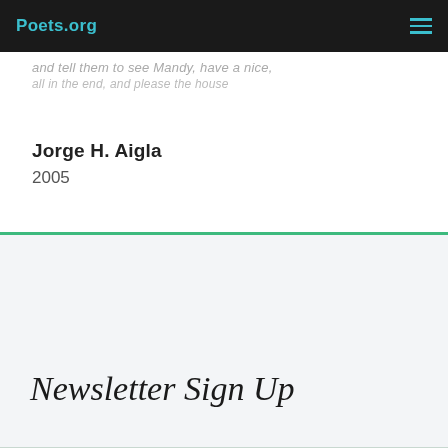Poets.org
and tell them to see Mandy, have a nice,
all in the end, and please the house
Jorge H. Aigla
2005
Newsletter Sign Up